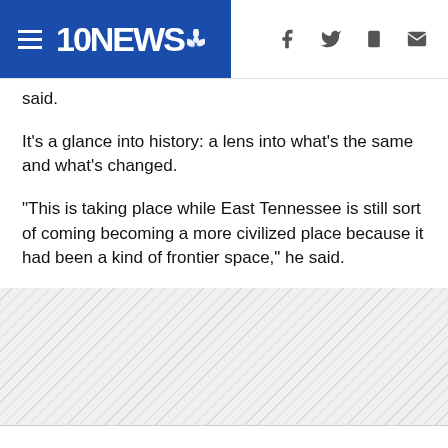10NEWS
said.
It's a glance into history: a lens into what's the same and what's changed.
"This is taking place while East Tennessee is still sort of coming becoming a more civilized place because it had been a kind of frontier space," he said.
From the canvas to interactive displays, immersing yourself in the past can help you appreciate the present.
[Figure (other): Hatched/striped gray placeholder area at the bottom of the page]